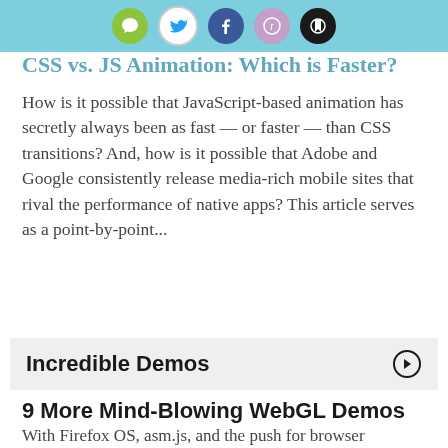[Social share icons: comment, twitter, facebook, reddit, bookmark]
CSS vs. JS Animation: Which is Faster?
How is it possible that JavaScript-based animation has secretly always been as fast — or faster — than CSS transitions? And, how is it possible that Adobe and Google consistently release media-rich mobile sites that rival the performance of native apps? This article serves as a point-by-point...
Incredible Demos
9 More Mind-Blowing WebGL Demos
With Firefox OS, asm.js, and the push for browser performance improvements, canvas and WebGL technologies are opening a world of possibilities.  I featured 9 Mind-Blowing Canvas Demos and then